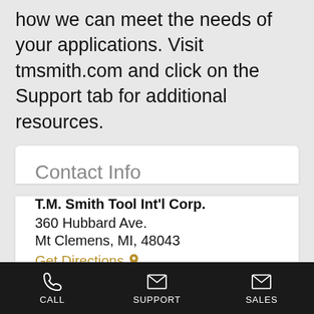how we can meet the needs of your applications. Visit tmsmith.com and click on the Support tab for additional resources.
Contact Info
T.M. Smith Tool Int'l Corp.
360 Hubbard Ave.
Mt Clemens, MI, 48043
Get Directions
Phone:
CALL   SUPPORT   SALES